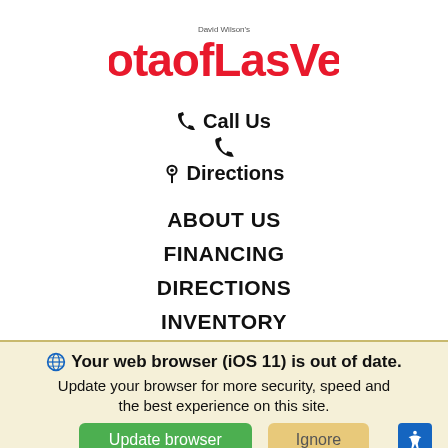[Figure (logo): Toyota of Las Vegas logo in red bubble-style font with small text above]
Call Us
Directions
ABOUT US
FINANCING
DIRECTIONS
INVENTORY
New Inventory
Pre-Owned Inventory
Your web browser (iOS 11) is out of date. Update your browser for more security, speed and the best experience on this site.